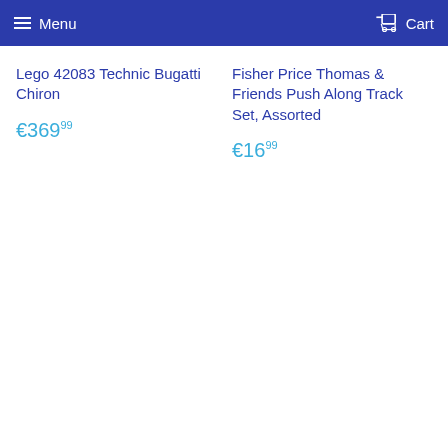Menu   Cart
Lego 42083 Technic Bugatti Chiron
€369.99
Fisher Price Thomas & Friends Push Along Track Set, Assorted
€16.99